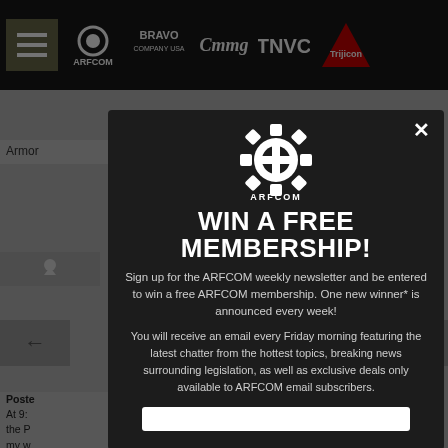[Figure (screenshot): ARFCOM website navigation bar with logos: ARFCOM, Bravo Company USA, Cmmg, TNVC, Trijicon]
[Figure (screenshot): Dimmed website background showing forum post content partially visible behind modal overlay]
[Figure (infographic): ARFCOM modal popup: Win a Free Membership newsletter signup dialog with ARFCOM gear logo, heading, descriptive text, and email input field]